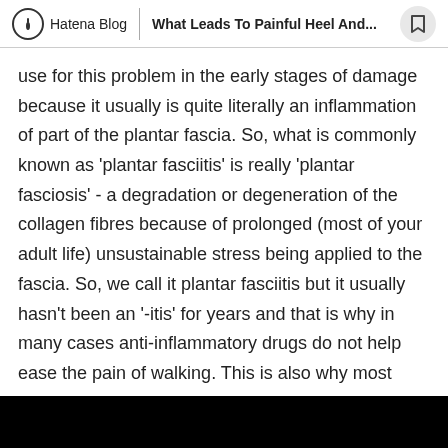Hatena Blog | What Leads To Painful Heel And...
use for this problem in the early stages of damage because it usually is quite literally an inflammation of part of the plantar fascia. So, what is commonly known as ‘plantar fasciitis’ is really ‘plantar fasciosis’ - a degradation or degeneration of the collagen fibres because of prolonged (most of your adult life) unsustainable stress being applied to the fascia. So, we call it plantar fasciitis but it usually hasn’t been an ‘-itis’ for years and that is why in many cases anti-inflammatory drugs do not help ease the pain of walking. This is also why most sufferers experience pain first thing in the morning. If inflammation was the source of